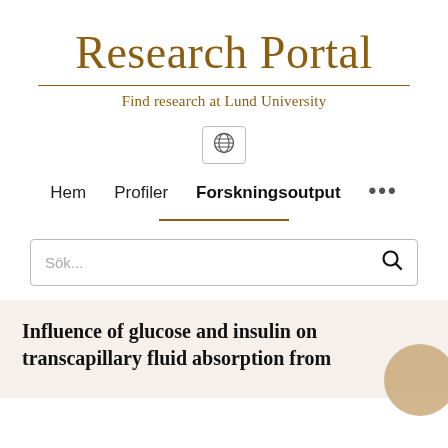Research Portal
Find research at Lund University
[Figure (other): Globe/language selector icon button]
Hem   Profiler   Forskningsoutput   ...
Sök...
Influence of glucose and insulin on transcapillary fluid absorption from